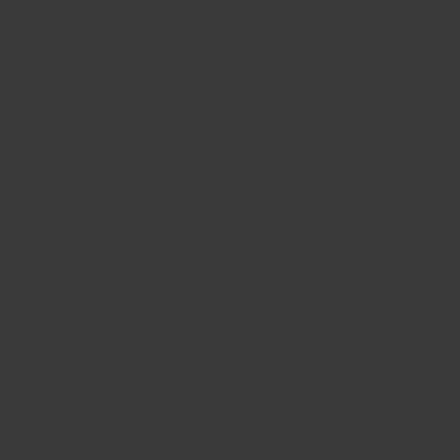Huntsville, AL Jobs
Montgomery, AL Jobs
Tuscaloosa, AL Jobs
Home | Profile and Resume | Browse Jobs | Employers | Other Cities | Clients List | About Us | Contact Us | Help | Terms of Use | Register / Log In
Copyright © 2001 - 2022 Recruiter Media Corporation - Birmingham Jobs
This website uses cookies to ensure you get the best experience on our website.
Learn more
Got it!